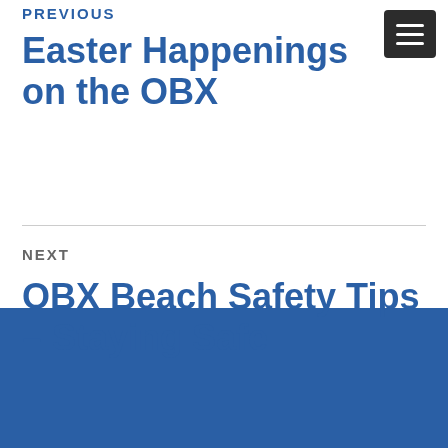PREVIOUS
Easter Happenings on the OBX
NEXT
OBX Beach Safety Tips – Staying Safe